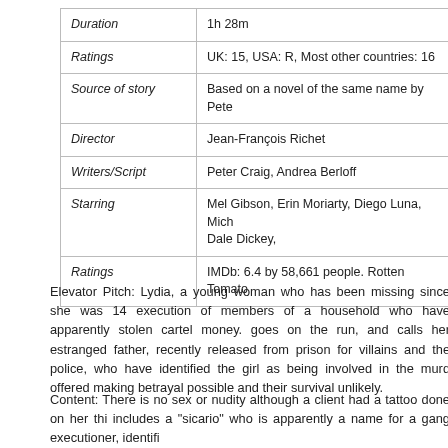| Field | Value |
| --- | --- |
| Duration | 1h 28m |
| Ratings | UK: 15, USA: R, Most other countries: 16 |
| Source of story | Based on a novel of the same name by Pete |
| Director | Jean-François Richet |
| Writers/Script | Peter Craig, Andrea Berloff |
| Starring | Mel Gibson, Erin Moriarty, Diego Luna, Mich  Dale Dickey, |
| Ratings | IMDb: 6.4 by 58,661 people. Rotten Tomato |
Elevator Pitch: Lydia, a young woman who has been missing since she was 14 execution of members of a household who have apparently stolen cartel money. goes on the run, and calls her estranged father, recently released from prison for villains and the police, who have identified the girl as being involved in the murd offered making betrayal possible and their survival unlikely.
Content: There is no sex or nudity although a client had a tattoo done on her thi includes a "sicario" who is apparently a name for a gang executioner, identifi